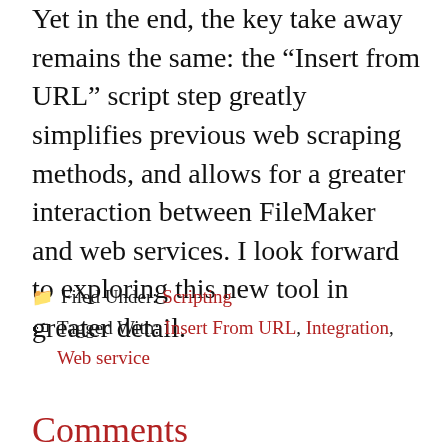Yet in the end, the key take away remains the same: the “Insert from URL” script step greatly simplifies previous web scraping methods, and allows for a greater interaction between FileMaker and web services. I look forward to exploring this new tool in greater detail.
Filed Under: Scripting
Tagged With: Insert From URL, Integration, Web service
Comments